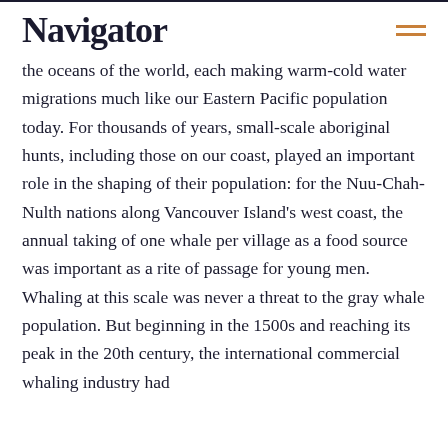Navigator
the oceans of the world, each making warm-cold water migrations much like our Eastern Pacific population today. For thousands of years, small-scale aboriginal hunts, including those on our coast, played an important role in the shaping of their population: for the Nuu-Chah-Nulth nations along Vancouver Island's west coast, the annual taking of one whale per village as a food source was important as a rite of passage for young men. Whaling at this scale was never a threat to the gray whale population. But beginning in the 1500s and reaching its peak in the 20th century, the international commercial whaling industry had